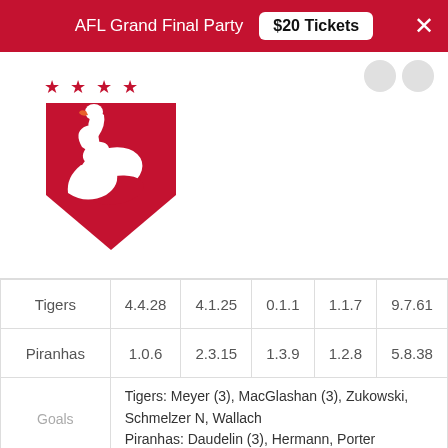AFL Grand Final Party  $20 Tickets  ×
[Figure (logo): Sydney Swans AFL club logo — red chevron/shield with white swan and four white stars above]
|  | Q1 | Q2 | Q3 | Q4 | Total |
| --- | --- | --- | --- | --- | --- |
| Tigers | 4.4.28 | 4.1.25 | 0.1.1 | 1.1.7 | 9.7.61 |
| Piranhas | 1.0.6 | 2.3.15 | 1.3.9 | 1.2.8 | 5.8.38 |
| Goals |  | Tigers: Meyer (3), MacGlashan (3), Zukowski, Schmelzer N, Wallach
Piranhas: Daudelin (3), Hermann, Porter |  |  |  |
| Best |  | Tigers: Meyer, MacGlashan, Burton, Jimenez
Piranhas: Daudelin, Hermann, Malcolm, Wilhelm |  |  |  |
| Injuries |  | Tigers: Meyer (Ankle)
Piranhas: Porter (Hammy), Bennett (Ankle) |  |  |  |
| Umpire |  | Biggs |  |  |  |